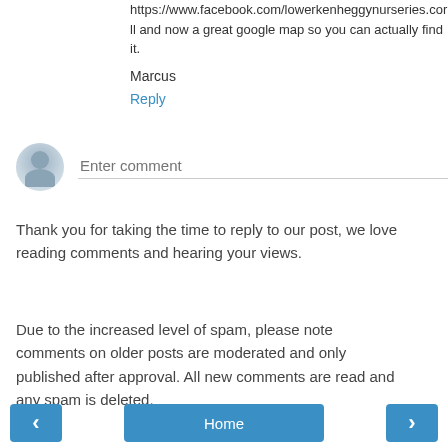https://www.facebook.com/lowerkenheggynurseries.cornwall and now a great google map so you can actually find it.
Marcus
Reply
[Figure (other): User avatar placeholder with comment input field labeled 'Enter comment']
Thank you for taking the time to reply to our post, we love reading comments and hearing your views.
Due to the increased level of spam, please note comments on older posts are moderated and only published after approval. All new comments are read and any spam is deleted.
< Home >